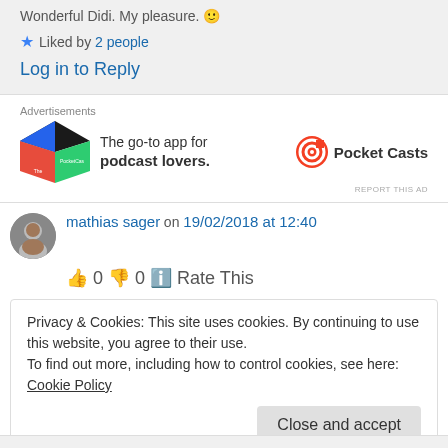Wonderful Didi. My pleasure. 🙂
★ Liked by 2 people
Log in to Reply
[Figure (screenshot): Pocket Casts advertisement: 'The go-to app for podcast lovers.' with colorful diamond logo and Pocket Casts brand]
mathias sager on 19/02/2018 at 12:40
👍 0 👎 0 ℹ Rate This
Privacy & Cookies: This site uses cookies. By continuing to use this website, you agree to their use.
To find out more, including how to control cookies, see here: Cookie Policy
Close and accept